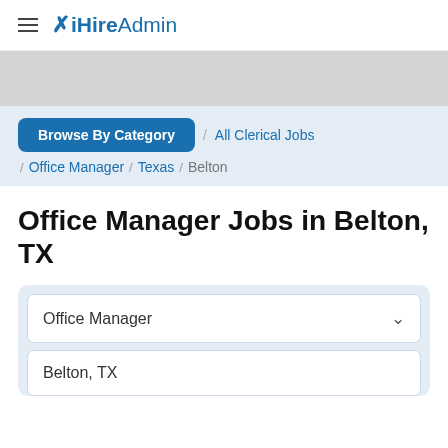iHireAdmin
Browse By Category / All Clerical Jobs / Office Manager / Texas / Belton
Office Manager Jobs in Belton, TX
Office Manager
Belton, TX